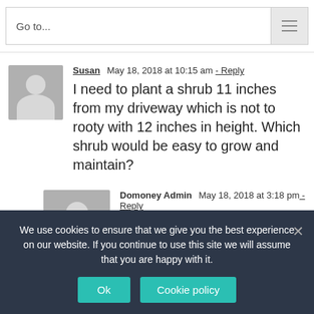Go to...
Susan  May 18, 2018 at 10:15 am - Reply

I need to plant a shrub 11 inches from my driveway which is not to rooty with 12 inches in height. Which shrub would be easy to grow and maintain?
Domoney Admin  May 18, 2018 at 3:18 pm - Reply
We use cookies to ensure that we give you the best experience on our website. If you continue to use this site we will assume that you are happy with it.